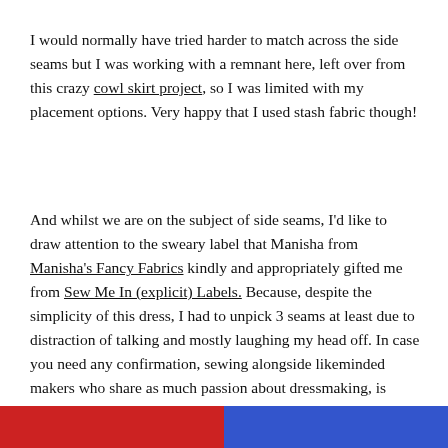I would normally have tried harder to match across the side seams but I was working with a remnant here, left over from this crazy cowl skirt project, so I was limited with my placement options. Very happy that I used stash fabric though!
And whilst we are on the subject of side seams, I'd like to draw attention to the sweary label that Manisha from Manisha's Fancy Fabrics kindly and appropriately gifted me from Sew Me In (explicit) Labels. Because, despite the simplicity of this dress, I had to unpick 3 seams at least due to distraction of talking and mostly laughing my head off. In case you need any confirmation, sewing alongside likeminded makers who share as much passion about dressmaking, is incredibly good for the soul but a little bit detrimental to productivity!
[Figure (photo): Partial image strip at the bottom of the page showing red and blue colors]